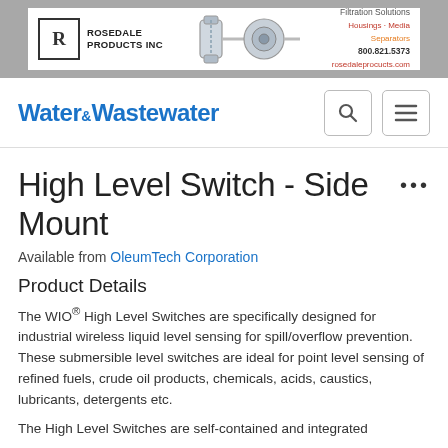[Figure (logo): Rosedale Products INC banner advertisement with logo, filtration equipment illustration, and contact info: 800.821.5373, rosedaleprocucts.com. Filtration Solutions - Housings, Media, Separators.]
Water & Wastewater
High Level Switch - Side Mount
Available from OleumTech Corporation
Product Details
The WIO® High Level Switches are specifically designed for industrial wireless liquid level sensing for spill/overflow prevention. These submersible level switches are ideal for point level sensing of refined fuels, crude oil products, chemicals, acids, caustics, lubricants, detergents etc.
The High Level Switches are self-contained and integrated